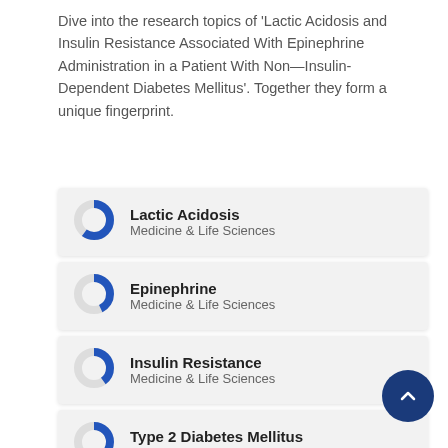Dive into the research topics of 'Lactic Acidosis and Insulin Resistance Associated With Epinephrine Administration in a Patient With Non—Insulin-Dependent Diabetes Mellitus'. Together they form a unique fingerprint.
[Figure (donut-chart): Donut chart icon for Lactic Acidosis (~60% filled blue)]
Lactic Acidosis
Medicine & Life Sciences
[Figure (donut-chart): Donut chart icon for Epinephrine (~40% filled blue)]
Epinephrine
Medicine & Life Sciences
[Figure (donut-chart): Donut chart icon for Insulin Resistance (~40% filled blue)]
Insulin Resistance
Medicine & Life Sciences
[Figure (donut-chart): Donut chart icon for Type 2 Diabetes Mellitus (~30% filled blue)]
Type 2 Diabetes Mellitus
Medicine & Life Sciences
[Figure (donut-chart): Donut chart icon for Thoracic Surgery (~20% filled blue, partially visible)]
Thoracic Surgery
Medicine & Life Sciences